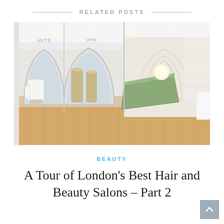RELATED POSTS
[Figure (photo): Interior of a luxury hair and beauty salon with arched mirrors, chrome styling stations, wood parquet flooring, white walls, and a green marble reception desk]
BEAUTY
A Tour of London’s Best Hair and Beauty Salons – Part 2